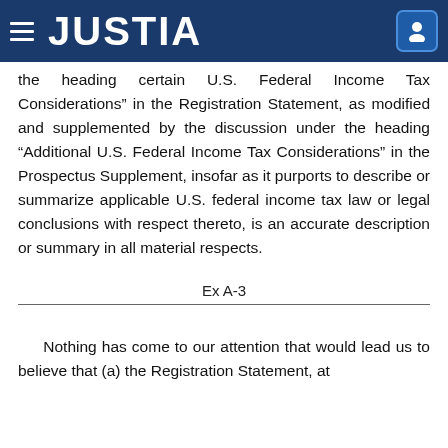JUSTIA
the heading certain U.S. Federal Income Tax Considerations” in the Registration Statement, as modified and supplemented by the discussion under the heading “Additional U.S. Federal Income Tax Considerations” in the Prospectus Supplement, insofar as it purports to describe or summarize applicable U.S. federal income tax law or legal conclusions with respect thereto, is an accurate description or summary in all material respects.
Ex A-3
Nothing has come to our attention that would lead us to believe that (a) the Registration Statement, at the time it became effective, contained any untrue